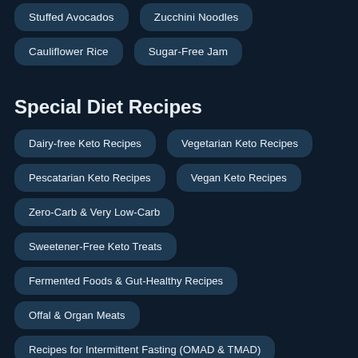Stuffed Avocados
Zucchini Noodles
Cauliflower Rice
Sugar-Free Jam
Special Diet Recipes
Dairy-free Keto Recipes
Vegetarian Keto Recipes
Pescatarian Keto Recipes
Vegan Keto Recipes
Zero-Carb & Very Low-Carb
Sweetener-Free Keto Treats
Fermented Foods & Gut-Healthy Recipes
Offal & Organ Meats
Recipes for Intermittent Fasting (OMAD & TMAD)